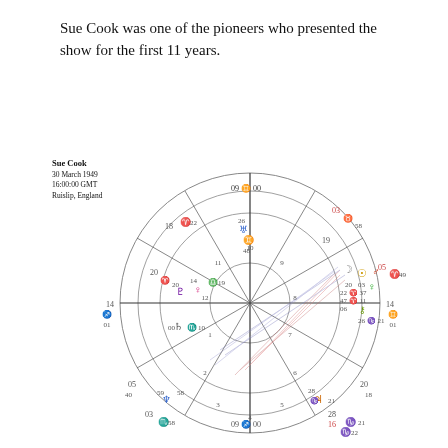Sue Cook was one of the pioneers who presented the show for the first 11 years.
[Figure (other): Astrological natal chart for Sue Cook, born 30 March 1949, 16:00:00 GMT, Ruislip, England. The chart shows a circular wheel divided into 12 houses with planetary symbols, aspect lines, and degree markings. Planets include Sun, Moon, Mercury, Venus, Mars, Jupiter, Saturn, Uranus, Neptune, Pluto, and others positioned around the wheel.]
Sue Cook
30 March 1949
16:00:00 GMT
Ruislip, England